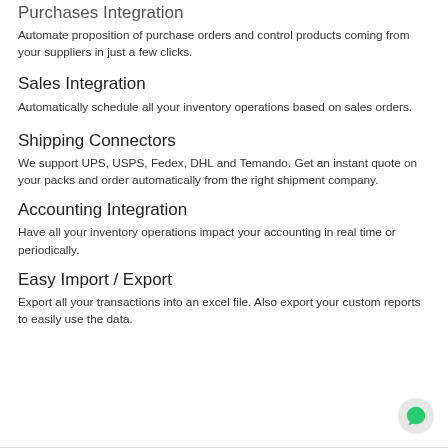Purchases Integration
Automate proposition of purchase orders and control products coming from your suppliers in just a few clicks.
Sales Integration
Automatically schedule all your inventory operations based on sales orders.
Shipping Connectors
We support UPS, USPS, Fedex, DHL and Temando. Get an instant quote on your packs and order automatically from the right shipment company.
Accounting Integration
Have all your inventory operations impact your accounting in real time or periodically.
Easy Import / Export
Export all your transactions into an excel file. Also export your custom reports to easily use the data.